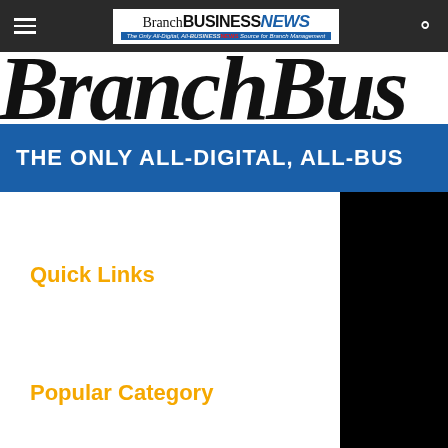Branch BUSINESS NEWS — The Only All-Digital, All-BUSINESS NEWS Source for Branch Management
[Figure (screenshot): Large italic brand text 'BranchBus' cropped, partially visible behind the nav bar and below it]
THE ONLY ALL-DIGITAL, ALL-BUS
Quick Links
Popular Category